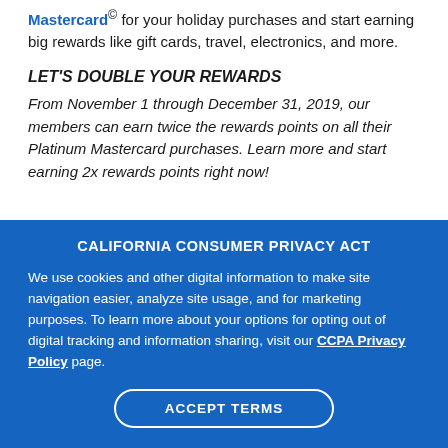Mastercard® for your holiday purchases and start earning big rewards like gift cards, travel, electronics, and more.
LET'S DOUBLE YOUR REWARDS
From November 1 through December 31, 2019, our members can earn twice the rewards points on all their Platinum Mastercard purchases. Learn more and start earning 2x rewards points right now!
CALIFORNIA CONSUMER PRIVACY ACT
We use cookies and other digital information to make site navigation easier, analyze site usage, and for marketing purposes. To learn more about your options for opting out of digital tracking and information sharing, visit our CCPA Privacy Policy page.
ACCEPT TERMS